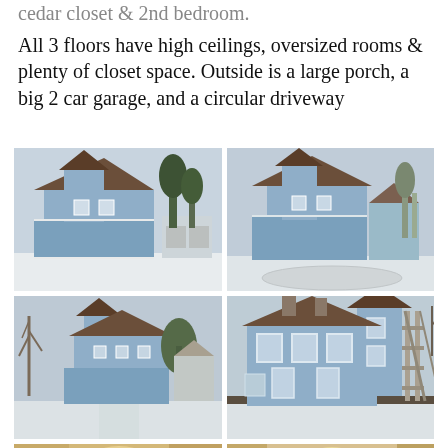cedar closet & 2nd bedroom.
All 3 floors have high ceilings, oversized rooms & plenty of closet space. Outside is a large porch, a big 2 car garage, and a circular driveway
[Figure (photo): Victorian blue house in winter with wraparound porch and garage, front view]
[Figure (photo): Victorian blue house in winter, side/angled view showing turret]
[Figure (photo): Victorian blue house in winter, wider lot view with bare trees]
[Figure (photo): Victorian blue house close-up showing turret and scaffolding, winter]
[Figure (photo): Interior photo of room, partial view at bottom of page]